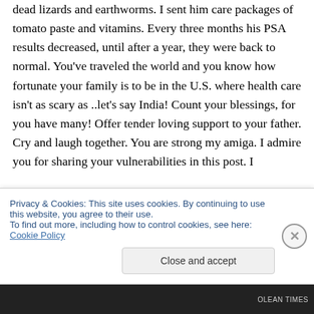dead lizards and earthworms. I sent him care packages of tomato paste and vitamins. Every three months his PSA results decreased, until after a year, they were back to normal. You've traveled the world and you know how fortunate your family is to be in the U.S. where health care isn't as scary as ..let's say India! Count your blessings, for you have many! Offer tender loving support to your father. Cry and laugh together. You are strong my amiga. I admire you for sharing your vulnerabilities in this post. I
Privacy & Cookies: This site uses cookies. By continuing to use this website, you agree to their use.
To find out more, including how to control cookies, see here: Cookie Policy
Close and accept